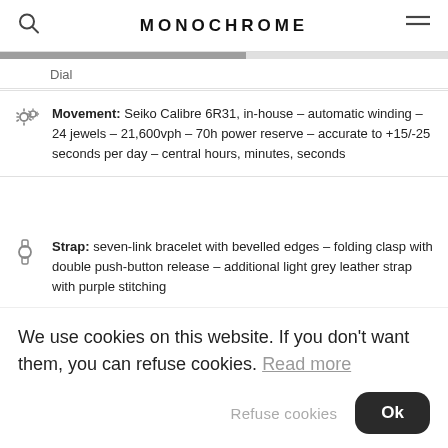MONOCHROME
Dial
Movement: Seiko Calibre 6R31, in-house – automatic winding – 24 jewels – 21,600vph – 70h power reserve – accurate to +15/-25 seconds per day – central hours, minutes, seconds
Strap: seven-link bracelet with bevelled edges – folding clasp with double push-button release – additional light grey leather strap with purple stitching
Availability: Seiko Boutique Exclusive Edition –
We use cookies on this website. If you don't want them, you can refuse cookies. Read more
Refuse cookies  Ok